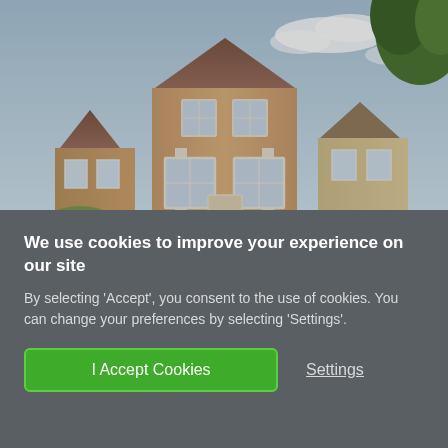[Figure (photo): Exterior photograph of a two-storey brick residential house with brown tiled roof, white-framed windows, and smaller houses on either side. Green trees visible at top right. Blue sky with clouds in background.]
We use cookies to improve your experience on our site
By selecting 'Accept', you consent to the use of cookies. You can change your preferences by selecting 'Settings'.
I Accept Cookies
Settings